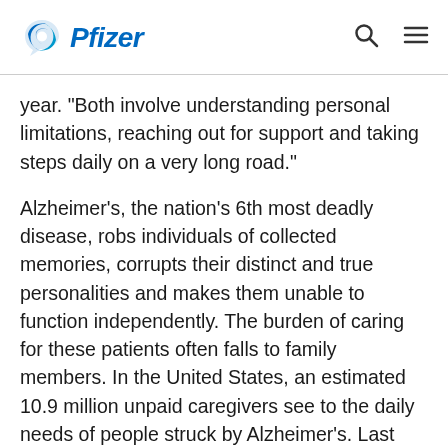Pfizer
year. "Both involve understanding personal limitations, reaching out for support and taking steps daily on a very long road."
Alzheimer's, the nation's 6th most deadly disease, robs individuals of collected memories, corrupts their distinct and true personalities and makes them unable to function independently. The burden of caring for these patients often falls to family members. In the United States, an estimated 10.9 million unpaid caregivers see to the daily needs of people struck by Alzheimer's. Last